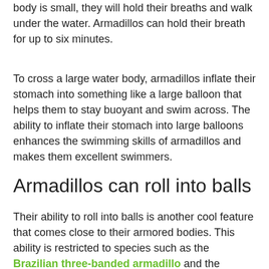body is small, they will hold their breaths and walk under the water. Armadillos can hold their breath for up to six minutes.
To cross a large water body, armadillos inflate their stomach into something like a large balloon that helps them to stay buoyant and swim across. The ability to inflate their stomach into large balloons enhances the swimming skills of armadillos and makes them excellent swimmers.
Armadillos can roll into balls
Their ability to roll into balls is another cool feature that comes close to their armored bodies. This ability is restricted to species such as the Brazilian three-banded armadillo and the southern three-banded armadillo. They apply their rolling ability as a defense